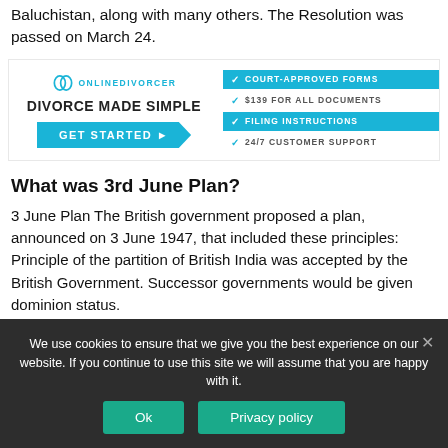Baluchistan, along with many others. The Resolution was passed on March 24.
[Figure (infographic): OnlineDivorcer advertisement banner: 'DIVORCE MADE SIMPLE' with GET STARTED button and list of features: Court-Approved Forms, $139 For All Documents, Filing Instructions, 24/7 Customer Support.]
What was 3rd June Plan?
3 June Plan The British government proposed a plan, announced on 3 June 1947, that included these principles: Principle of the partition of British India was accepted by the British Government. Successor governments would be given dominion status.
We use cookies to ensure that we give you the best experience on our website. If you continue to use this site we will assume that you are happy with it.